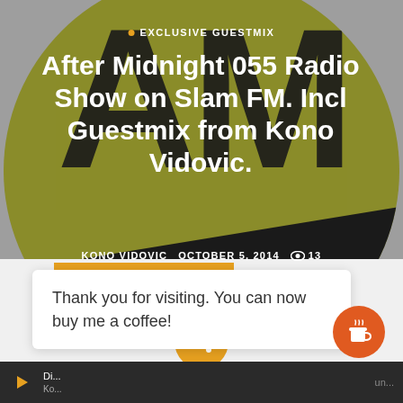[Figure (screenshot): Hero image with circular olive/dark record-label style graphic showing 'AM' large letters and '055' in bottom right. Yellow-green and dark gray color scheme.]
EXCLUSIVE GUESTMIX
After Midnight 055 Radio Show on Slam FM. Incl Guestmix from Kono Vidovic.
KONO VIDOVIC   OCTOBER 5, 2014   👁 13
Thank you for visiting. You can now buy me a coffee!
Di... un... Ko...